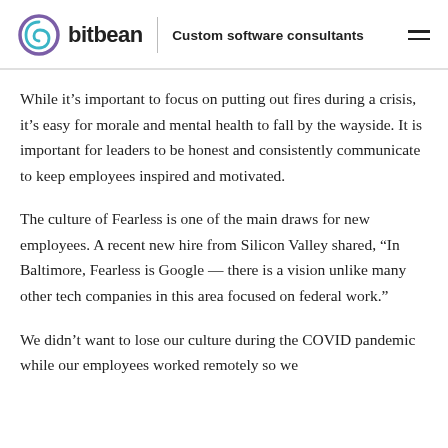bitbean | Custom software consultants
While it’s important to focus on putting out fires during a crisis, it’s easy for morale and mental health to fall by the wayside. It is important for leaders to be honest and consistently communicate to keep employees inspired and motivated.
The culture of Fearless is one of the main draws for new employees. A recent new hire from Silicon Valley shared, “In Baltimore, Fearless is Google — there is a vision unlike many other tech companies in this area focused on federal work.”
We didn’t want to lose our culture during the COVID pandemic while our employees worked remotely so we